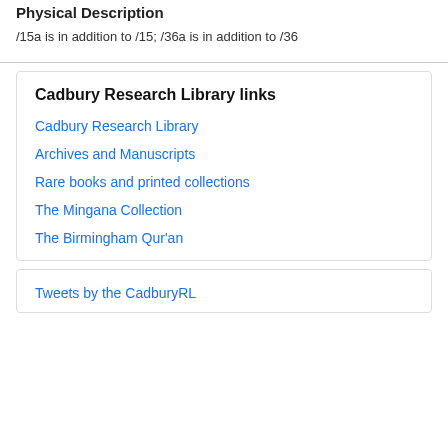Physical Description
/15a is in addition to /15; /36a is in addition to /36
Cadbury Research Library links
Cadbury Research Library
Archives and Manuscripts
Rare books and printed collections
The Mingana Collection
The Birmingham Qur'an
Tweets by the CadburyRL